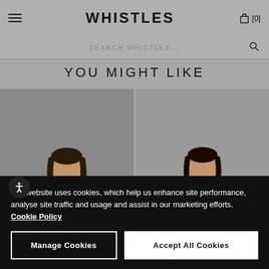WHISTLES  [0]
SEARCH WHISTLES...
YOU MIGHT LIKE
[Figure (photo): Woman wearing a blue top, product photo on grey background]
[Figure (photo): Woman wearing a green floral dress, product photo on grey background]
Our website uses cookies, which help us enhance site performance, analyse site traffic and usage and assist in our marketing efforts. Cookie Policy
Manage Cookies
Accept All Cookies